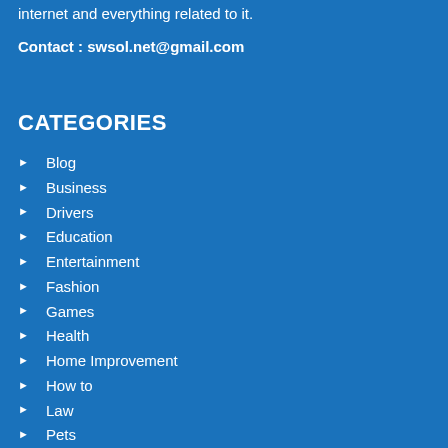internet and everything related to it.
Contact : swsol.net@gmail.com
CATEGORIES
Blog
Business
Drivers
Education
Entertainment
Fashion
Games
Health
Home Improvement
How to
Law
Pets
Sports
Tech
Travel